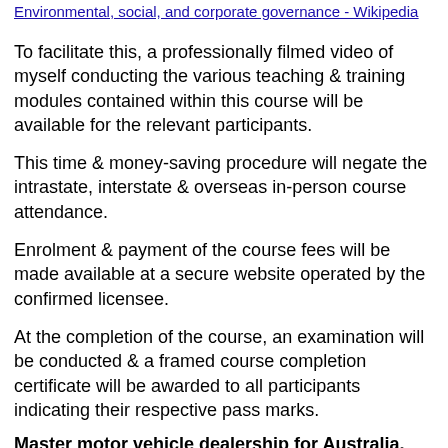Environmental, social, and corporate governance - Wikipedia
To facilitate this, a professionally filmed video of myself conducting the various teaching & training modules contained within this course will be available for the relevant participants.
This time & money-saving procedure will negate the intrastate, interstate & overseas in-person course attendance.
Enrolment & payment of the course fees will be made available at a secure website operated by the confirmed licensee.
At the completion of the course, an examination will be conducted & a framed course completion certificate will be awarded to all participants indicating their respective pass marks.
Master motor vehicle dealership for Australia, after-market accessories